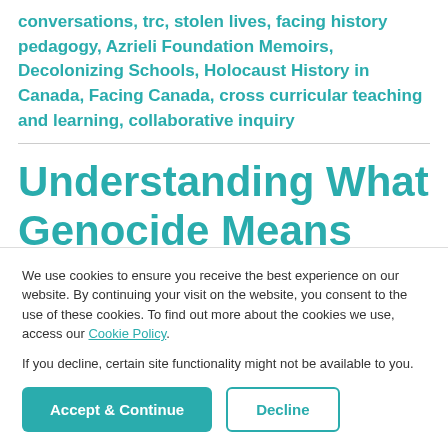conversations, trc, stolen lives, facing history pedagogy, Azrieli Foundation Memoirs, Decolonizing Schools, Holocaust History in Canada, Facing Canada, cross curricular teaching and learning, collaborative inquiry
Understanding What Genocide Means
We use cookies to ensure you receive the best experience on our website. By continuing your visit on the website, you consent to the use of these cookies. To find out more about the cookies we use, access our Cookie Policy.

If you decline, certain site functionality might not be available to you.